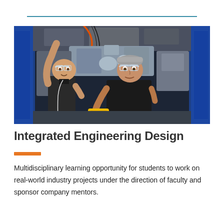[Figure (photo): Two people working underneath machinery — a younger man reaching up to connect wiring and an older man holding a yellow diagnostic tool, both wearing safety glasses. The setting appears to be an automotive or aerospace engineering lab with blue structural frames visible.]
Integrated Engineering Design
Multidisciplinary learning opportunity for students to work on real-world industry projects under the direction of faculty and sponsor company mentors.